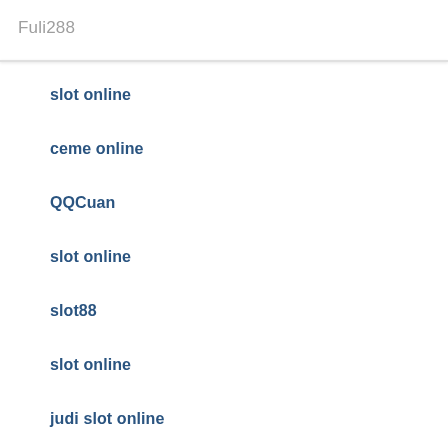Fuli288
slot online
ceme online
QQCuan
slot online
slot88
slot online
judi slot online
akun slot demo